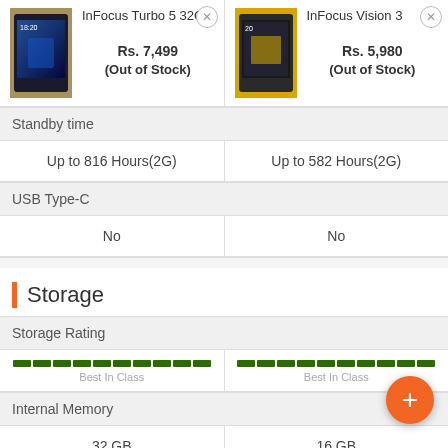| InFocus Turbo 5 32GB | InFocus Vision 3 |
| --- | --- |
| Rs. 7,499 (Out of Stock) | Rs. 5,980 (Out of Stock) |
| Standby time |  |
| Up to 816 Hours(2G) | Up to 582 Hours(2G) |
| USB Type-C |  |
| No | No |
Storage
| Storage Rating |  |
| --- | --- |
| Best In Class | Best In Class |
| Internal Memory |  |
| 32 GB | 16 GB |